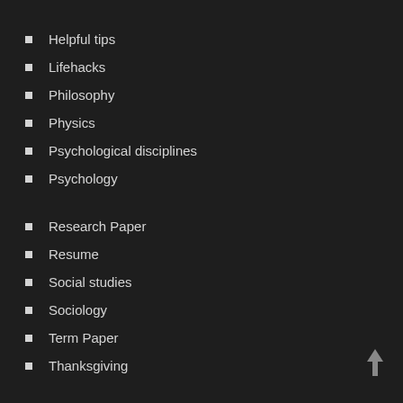Helpful tips
Lifehacks
Philosophy
Physics
Psychological disciplines
Psychology
Research Paper
Resume
Social studies
Sociology
Term Paper
Thanksgiving